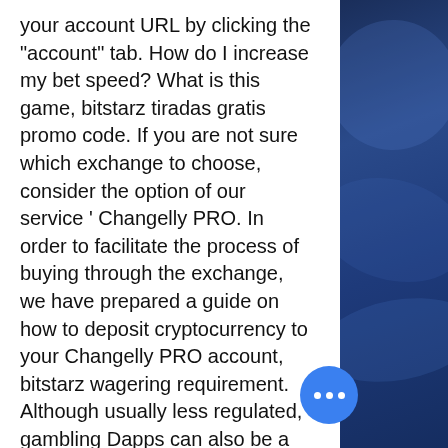your account URL by clicking the "account" tab. How do I increase my bet speed? What is this game, bitstarz tiradas gratis promo code. If you are not sure which exchange to choose, consider the option of our service ' Changelly PRO. In order to facilitate the process of buying through the exchange, we have prepared a guide on how to deposit cryptocurrency to your Changelly PRO account, bitstarz wagering requirement. Although usually less regulated, gambling Dapps can also be a safe choice , as long as their games are 100% provably fair. Are Bitcoin Casinos Legal In Canada, bitstarz no deposit bonus 20 freispiele. It can be traded on BTC exchanges. The user can buy stuff using BTC or transfer to other accounts as well or even the user can exchange it for currencies too, bitstarz www bonus cod .com. Nachteile bei einem Bitcoin Cas Weniger Regulierungen auf dem Bitcoin
[Figure (other): Blue gradient decorative background panel on the right side of the page]